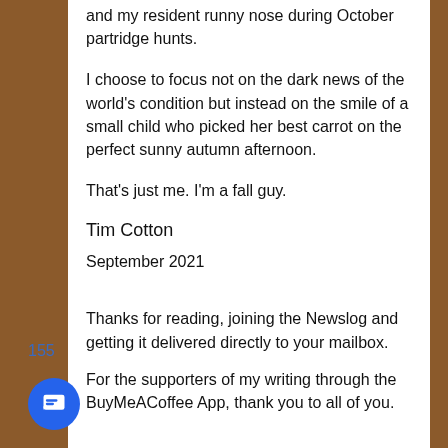and my resident runny nose during October partridge hunts.
I choose to focus not on the dark news of the world's condition but instead on the smile of a small child who picked her best carrot on the perfect sunny autumn afternoon.
That's just me. I'm a fall guy.
Tim Cotton
September 2021
Thanks for reading, joining the Newslog and getting it delivered directly to your mailbox.
For the supporters of my writing through the BuyMeACoffee App, thank you to all of you.